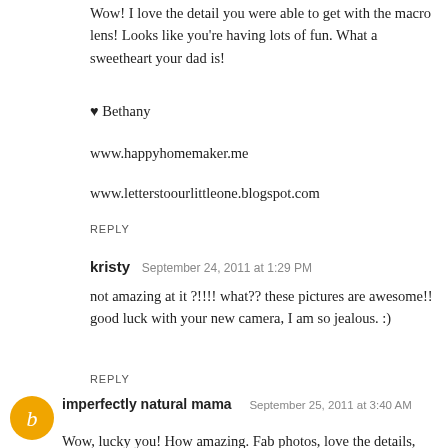Wow! I love the detail you were able to get with the macro lens! Looks like you're having lots of fun. What a sweetheart your dad is!
♥ Bethany
www.happyhomemaker.me
www.letterstoourlittleone.blogspot.com
REPLY
kristy  September 24, 2011 at 1:29 PM
not amazing at it ?!!!! what?? these pictures are awesome!! good luck with your new camera, I am so jealous. :)
REPLY
[Figure (logo): Orange circular avatar with white letter b inside, for imperfectly natural mama]
imperfectly natural mama  September 25, 2011 at 3:40 AM
Wow, lucky you! How amazing. Fab photos, love the details, it's so different to be able to go in